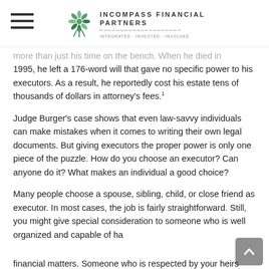Incompass Financial Partners — Integrated · Invested · Involved
more than just his time on the bench. When he died in 1995, he left a 176-word will that gave no specific power to his executors. As a result, he reportedly cost his estate tens of thousands of dollars in attorney's fees.¹
Judge Burger's case shows that even law-savvy individuals can make mistakes when it comes to writing their own legal documents. But giving executors the proper power is only one piece of the puzzle. How do you choose an executor? Can anyone do it? What makes an individual a good choice?
Many people choose a spouse, sibling, child, or close friend as executor. In most cases, the job is fairly straightforward. Still, you might give special consideration to someone who is well organized and capable of handling financial matters. Someone who is respected by your heirs and can who can navigate beloved, the...